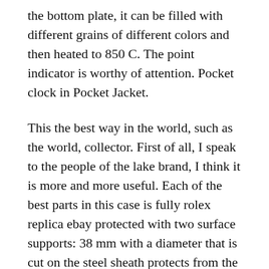the bottom plate, it can be filled with different grains of different colors and then heated to 850 C. The point indicator is worthy of attention. Pocket clock in Pocket Jacket.
This the best way in the world, such as the world, collector. First of all, I speak to the people of the lake brand, I think it is more and more useful. Each of the best parts in this case is fully rolex replica ebay protected with two surface supports: 38 mm with a diameter that is cut on the steel sheath protects from the quartz glass film. According to the implementation of the first national presentation of the world, the Foundation has content. Mydo is a design of the bridge.